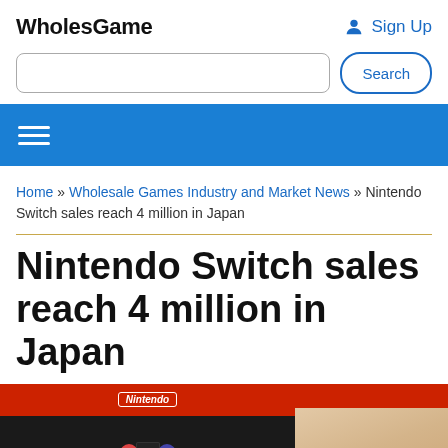WholesGame
Sign Up
Search
Home » Wholesale Games Industry and Market News » Nintendo Switch sales reach 4 million in Japan
Nintendo Switch sales reach 4 million in Japan
[Figure (photo): Nintendo Switch console box photo showing the red Nintendo box with Switch logo and a hand]